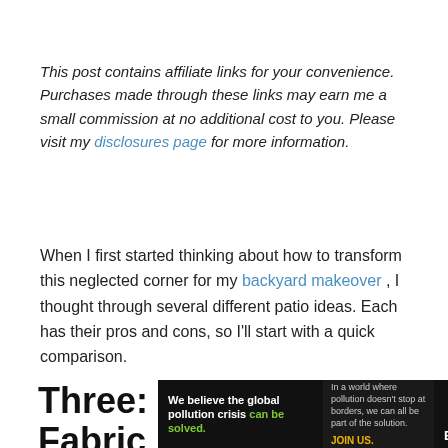This post contains affiliate links for your convenience. Purchases made through these links may earn me a small commission at no additional cost to you. Please visit my disclosures page for more information.
When I first started thinking about how to transform this neglected corner for my backyard makeover, I thought through several different patio ideas. Each has their pros and cons, so I'll start with a quick comparison.
Three: Lay Landscape Fabric
[Figure (infographic): Pure Earth advertisement banner: black background with text 'We believe the global pollution crisis can be solved.' in white and green, center text 'In a world where pollution doesn't stop at borders, we can all be part of the solution. JOIN US.' and Pure Earth logo with orange diamond icon on right.]